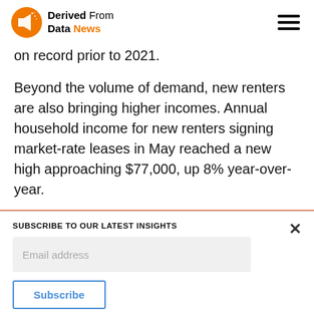Derived From Data News
on record prior to 2021.
Beyond the volume of demand, new renters are also bringing higher incomes. Annual household income for new renters signing market-rate leases in May reached a new high approaching $77,000, up 8% year-over-year.
SUBSCRIBE TO OUR LATEST INSIGHTS
Email address
Subscribe